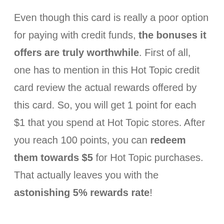Even though this card is really a poor option for paying with credit funds, the bonuses it offers are truly worthwhile. First of all, one has to mention in this Hot Topic credit card review the actual rewards offered by this card. So, you will get 1 point for each $1 that you spend at Hot Topic stores. After you reach 100 points, you can redeem them towards $5 for Hot Topic purchases. That actually leaves you with the astonishing 5% rewards rate!